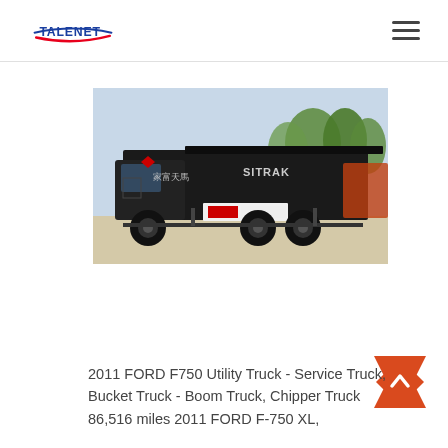TALENET
[Figure (photo): Side view of a black SINOTRUK/SITRAK heavy dump truck with Chinese characters on the body, parked in a yard with trees in the background.]
2011 FORD F750 Utility Truck - Service Truck, Bucket Truck - Boom Truck, Chipper Truck 86,516 miles 2011 FORD F-750 XL,